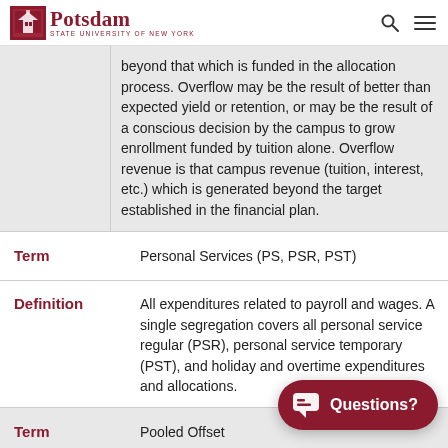Potsdam STATE UNIVERSITY OF NEW YORK
beyond that which is funded in the allocation process. Overflow may be the result of better than expected yield or retention, or may be the result of a conscious decision by the campus to grow enrollment funded by tuition alone. Overflow revenue is that campus revenue (tuition, interest, etc.) which is generated beyond the target established in the financial plan.
Term: Personal Services (PS, PSR, PST)
Definition: All expenditures related to payroll and wages. A single segregation covers all personal service regular (PSR), personal service temporary (PST), and holiday and overtime expenditures and allocations.
Term: Pooled Offset